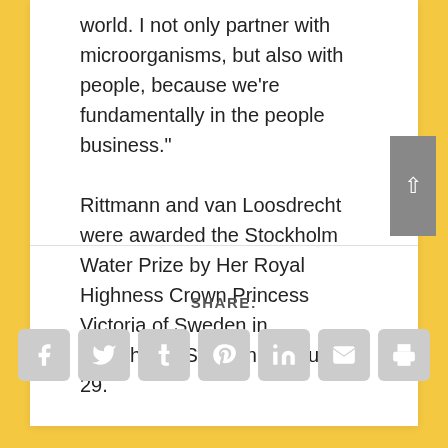world. I not only partner with microorganisms, but also with people, because we're fundamentally in the people business."
Rittmann and van Loosdrecht were awarded the Stockholm Water Prize by Her Royal Highness Crown Princess Victoria of Sweden in Stockholm, Sweden, on August 29.
SHARE:
[Figure (other): Social share icons: Facebook, Twitter, Tumblr, Pinterest, LinkedIn, Email, Print]